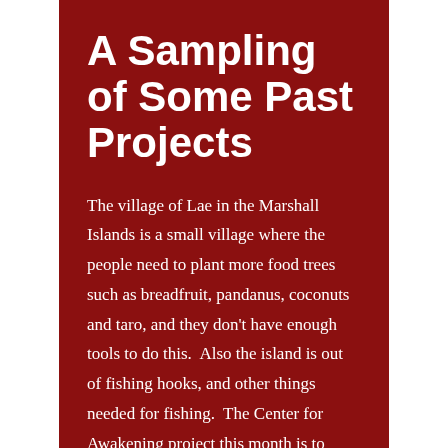A Sampling of Some Past Projects
The village of Lae in the Marshall Islands is a small village where the people need to plant more food trees such as breadfruit, pandanus, coconuts and taro, and they don't have enough tools to do this.  Also the island is out of fishing hooks, and other things needed for fishing.  The Center for Awakening project this month is to purchase  knives for gathering coconut sap, fishing hooks and lines, snorkels & masks for spear